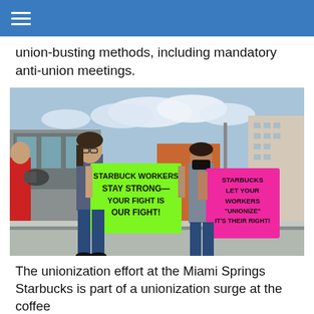union-busting methods, including mandatory anti-union meetings.
[Figure (photo): Protesters outside a Starbucks holding signs. One green sign reads 'STARBUCK WORKERS STAY STRONG— YOUR FIGHT IS OUR FIGHT!' and one pink sign reads 'STARBUCKS LET YOUR WORKERS "UNIONIZE" IT'S THEIR RIGHT!']
The unionization effort at the Miami Springs Starbucks is part of a unionization surge at the coffee